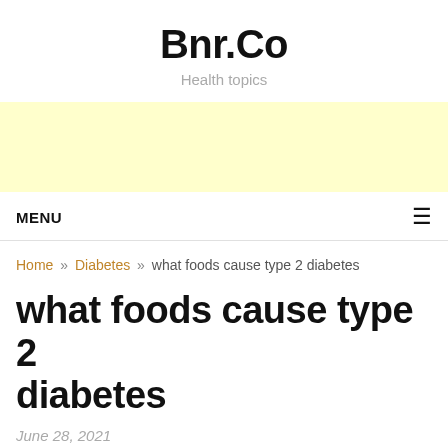Bnr.Co
Health topics
[Figure (other): Yellow/cream colored advertisement banner placeholder]
MENU
Home » Diabetes » what foods cause type 2 diabetes
what foods cause type 2 diabetes
June 28, 2021